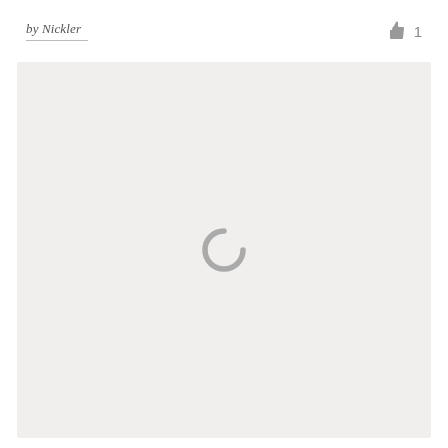by Nickler   👍 1
[Figure (other): Large light gray content area with a gray loading spinner (arc shape) centered in the middle, indicating content is loading.]